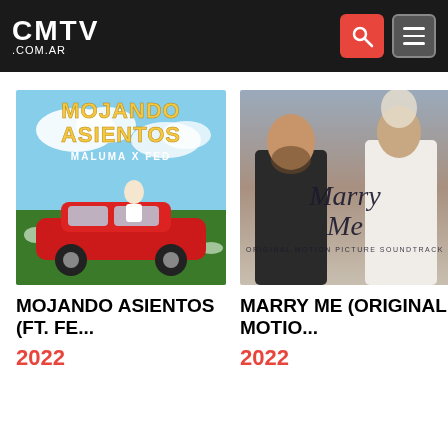CMTV .COM.AR
[Figure (illustration): Album cover for Mojando Asientos by Maluma x Feid — man in white suit on red Ferrari, yellow retro text, garden background]
MOJANDO ASIENTOS (FT. FE...
2022
[Figure (illustration): Album cover for Marry Me Original Motion Picture Soundtrack — couple in wedding attire facing each other, decorative script text]
MARRY ME (ORIGINAL MOTIO...
2022